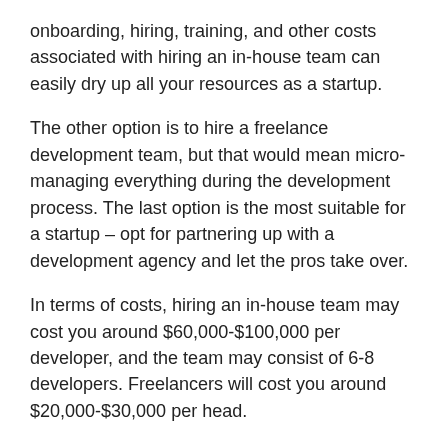onboarding, hiring, training, and other costs associated with hiring an in-house team can easily dry up all your resources as a startup.
The other option is to hire a freelance development team, but that would mean micro-managing everything during the development process. The last option is the most suitable for a startup – opt for partnering up with a development agency and let the pros take over.
In terms of costs, hiring an in-house team may cost you around $60,000-$100,000 per developer, and the team may consist of 6-8 developers. Freelancers will cost you around $20,000-$30,000 per head.
But, an agency will negotiate their cost based on their estimation of your app. This is the least costly option